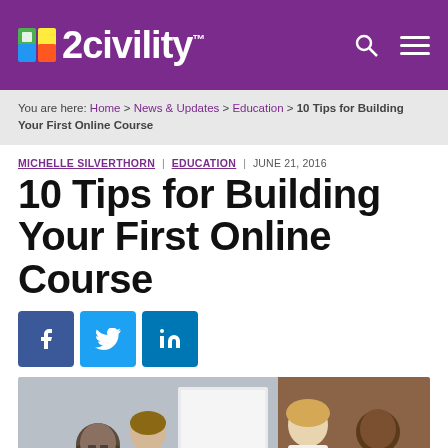2civility
You are here: Home > News & Updates > Education > 10 Tips for Building Your First Online Course
MICHELLE SILVERTHORN | EDUCATION | JUNE 21, 2016
10 Tips for Building Your First Online Course
[Figure (other): Social share buttons for Facebook, Twitter, and LinkedIn]
[Figure (photo): Group of diverse young professionals sitting around a table collaborating, with a whiteboard and wooden wall in the background]